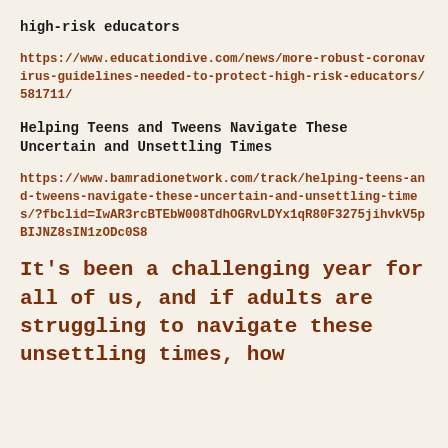high-risk educators
https://www.educationdive.com/news/more-robust-coronavirus-guidelines-needed-to-protect-high-risk-educators/581711/
Helping Teens and Tweens Navigate These Uncertain and Unsettling Times
https://www.bamradionetwork.com/track/helping-teens-and-tweens-navigate-these-uncertain-and-unsettling-times/?fbclid=IwAR3rcBTEbW008TdhOGRvLDYx1qR80F3275jihvkV5pBIJNZ8sIN1zODc0S8
It’s been a challenging year for all of us, and if adults are struggling to navigate these unsettling times, how